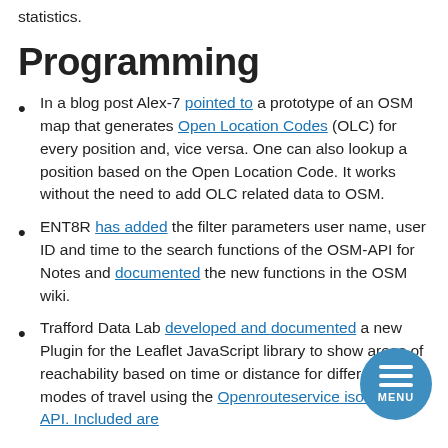statistics.
Programming
In a blog post Alex-7 pointed to a prototype of an OSM map that generates Open Location Codes (OLC) for every position and, vice versa. One can also lookup a position based on the Open Location Code. It works without the need to add OLC related data to OSM.
ENT8R has added the filter parameters user name, user ID and time to the search functions of the OSM-API for Notes and documented the new functions in the OSM wiki.
Trafford Data Lab developed and documented a new Plugin for the Leaflet JavaScript library to show areas of reachability based on time or distance for different modes of travel using the Openrouteservice isochrones API. Included are